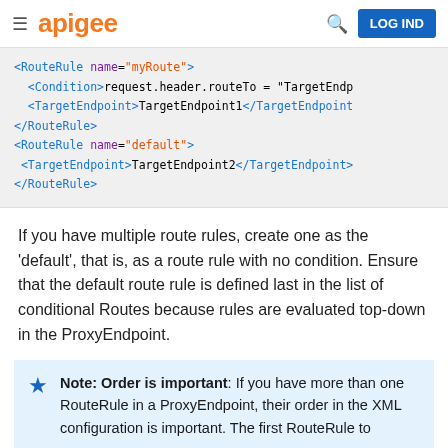apigee | LOG IND
[Figure (screenshot): Code block showing XML RouteRule configuration with Condition, TargetEndpoint elements for myRoute and default route rules]
If you have multiple route rules, create one as the 'default', that is, as a route rule with no condition. Ensure that the default route rule is defined last in the list of conditional Routes because rules are evaluated top-down in the ProxyEndpoint.
Note: Order is important: If you have more than one RouteRule in a ProxyEndpoint, their order in the XML configuration is important. The first RouteRule to match...